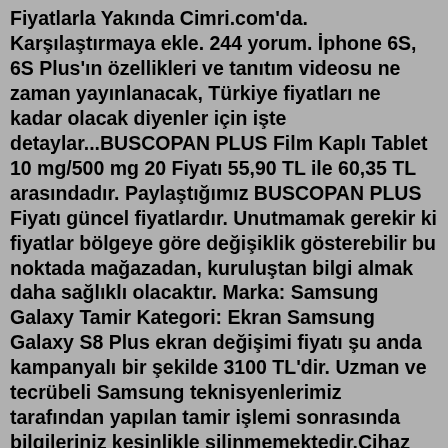Fiyatlarla Yakında Cimri.com'da. Karşılaştırmaya ekle. 244 yorum. İphone 6S, 6S Plus'ın özellikleri ve tanıtım videosu ne zaman yayınlanacak, Türkiye fiyatları ne kadar olacak diyenler için işte detaylar...BUSCOPAN PLUS Film Kaplı Tablet 10 mg/500 mg 20 Fiyatı 55,90 TL ile 60,35 TL arasındadır. Paylaştığımız BUSCOPAN PLUS Fiyatı güncel fiyatlardır. Unutmamak gerekir ki fiyatlar bölgeye göre değişiklik gösterebilir bu noktada mağazadan, kuruluştan bilgi almak daha sağlıklı olacaktır. Marka: Samsung Galaxy Tamir Kategori: Ekran Samsung Galaxy S8 Plus ekran değişimi fiyatı şu anda kampanyalı bir şekilde 3100 TL'dir. Uzman ve tecrübeli Samsung teknisyenlerimiz tarafından yapılan tamir işlemi sonrasında bilgileriniz kesinlikle silinmemektedir.Cihaz performansında yani dokunmatik hızı, dokunmatik hassasiyeti ve ekran parlaklığında herhangi bir değişim ...Office 2019 Pro Plus 10 Cihaz İçin 5 Key. Office 2021 Pro Plus Satın Al - Orjinal uygun fiyata Microsoft Office 2021 Pro Plus key.... Sunumla Satın Al. Toplam Fiyat: 160,99₺